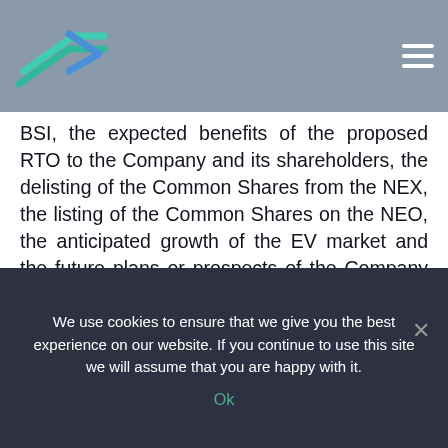BSI, the expected benefits of the proposed RTO to the Company and its shareholders, the delisting of the Common Shares from the NEX, the listing of the Common Shares on the NEO, the anticipated growth of the EV market and the future plans or prospects of the Company and the Target. Generally, forward-looking information can be identified by the use of forward-looking terminology such as “plans”, “expects” or “does not expect”, “is expected”, “budget”, “scheduled”, “estimates”, “forecasts”, “intends”, “ancipates” or “does not
We use cookies to ensure that we give you the best experience on our website. If you continue to use this site we will assume that you are happy with it.
Ok